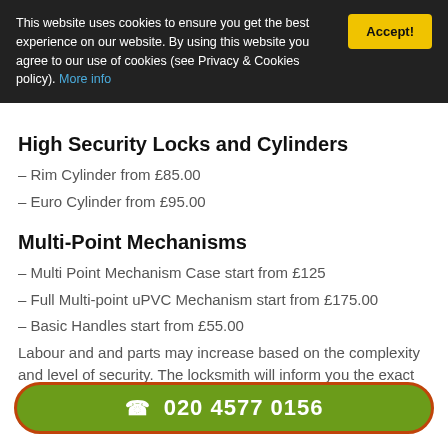This website uses cookies to ensure you get the best experience on our website. By using this website you agree to our use of cookies (see Privacy & Cookies policy). More info
High Security Locks and Cylinders
– Rim Cylinder from £85.00
– Euro Cylinder from £95.00
Multi-Point Mechanisms
– Multi Point Mechanism Case start from £125
– Full Multi-point uPVC Mechanism start from £175.00
– Basic Handles start from £55.00
Labour and and parts may increase based on the complexity and level of security. The locksmith will inform you the exact cost and process of the job are different from the prices stated on the
☎ 020 4577 0156